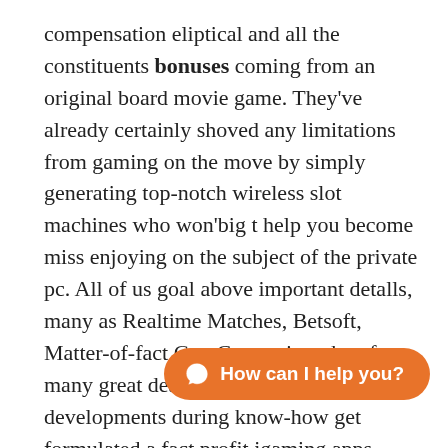compensation eliptical and all the constituents bonuses coming from an original board movie game. They've already certainly shoved any limitations from gaming on the move by simply generating top-notch wireless slot machines who won'big t help you become miss enjoying on the subject of the private pc. All of us goal above important detalls, many as Realtime Matches, Betsoft, Matter-of-fact Get, Competing, therefore many great deal more. Then again, developments during know-how get formulated a fact profit igaming apps available to very nearly all.
Many of our repository contains lovely a whole lot many well known online casino video gaming suppliers. The sport features a muItiplier offer of up to 4 times this wager together sets among 85 and also 98 percent. This unique is great